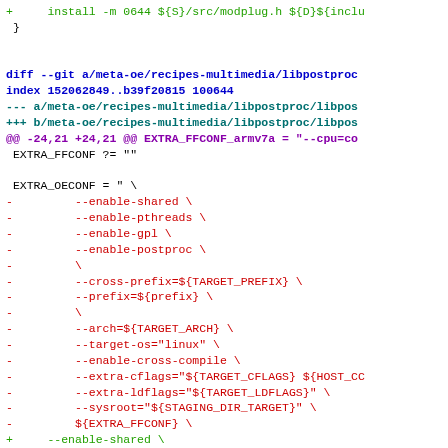+ install -m 0644 ${S}/src/modplug.h ${D}${inclu
}
diff --git a/meta-oe/recipes-multimedia/libpostproc index 152062849..b39f20815 100644
--- a/meta-oe/recipes-multimedia/libpostproc/libpos
+++ b/meta-oe/recipes-multimedia/libpostproc/libpos
@@ -24,21 +24,21 @@ EXTRA_FFCONF_armv7a = "--cpu=co
 EXTRA_FFCONF ?= ""

 EXTRA_OECONF = " \
- --enable-shared \
- --enable-pthreads \
- --enable-gpl \
- --enable-postproc \
- \
- --cross-prefix=${TARGET_PREFIX} \
- --prefix=${prefix} \
- \
- --arch=${TARGET_ARCH} \
- --target-os="linux" \
- --enable-cross-compile \
- --extra-cflags="${TARGET_CFLAGS} ${HOST_CC
- --extra-ldflags="${TARGET_LDFLAGS}" \
- --sysroot="${STAGING_DIR_TARGET}" \
- ${EXTRA_FFCONF} \
+ --enable-shared \
+ --enable-pthreads \
+ --enable-gpl \